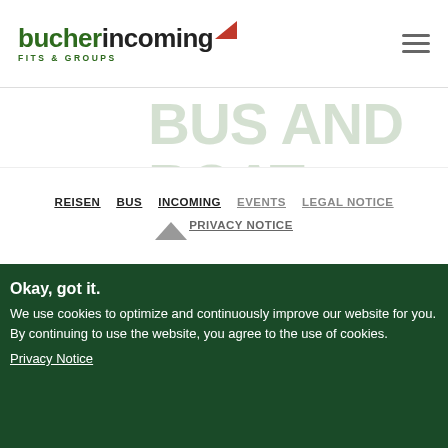bucher incoming FITS & GROUPS
BUS AND BOAT.
Customize your trip to Switzerland with Bucher Travel. Select your preferred train pass or mountain excursion. Facilitate your train journey with the Bucher Travel Swiss Travelling Bellboy luggage transfer service or simplify your arrival with a meet &
REISEN  BUS  INCOMING  EVENTS  LEGAL NOTICE  PRIVACY NOTICE
Okay, got it.
We use cookies to optimize and continuously improve our website for you. By continuing to use the website, you agree to the use of cookies.
Privacy Notice